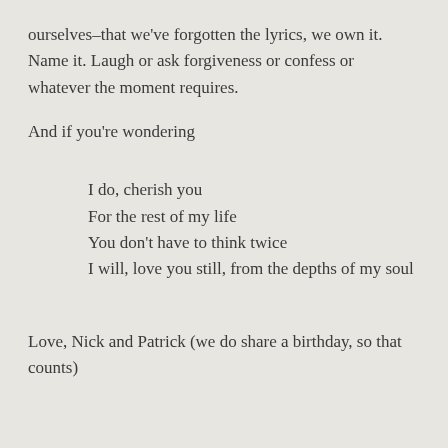ourselves–that we've forgotten the lyrics, we own it. Name it. Laugh or ask forgiveness or confess or whatever the moment requires.
And if you're wondering
I do, cherish you
For the rest of my life
You don't have to think twice
I will, love you still, from the depths of my soul
Love, Nick and Patrick (we do share a birthday, so that counts)